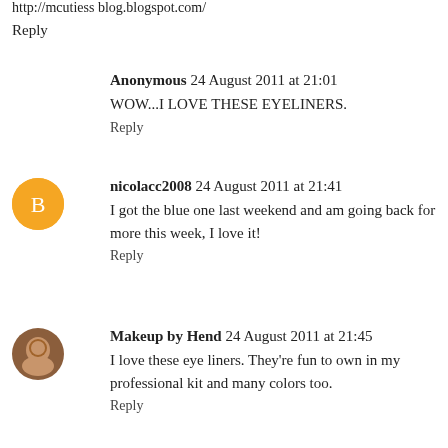http://mcutiess blog.blogspot.com/
Reply
Anonymous 24 August 2011 at 21:01
WOW...I LOVE THESE EYELINERS.
Reply
nicolacc2008 24 August 2011 at 21:41
I got the blue one last weekend and am going back for more this week, I love it!
Reply
Makeup by Hend 24 August 2011 at 21:45
I love these eye liners. They're fun to own in my professional kit and many colors too.
Reply